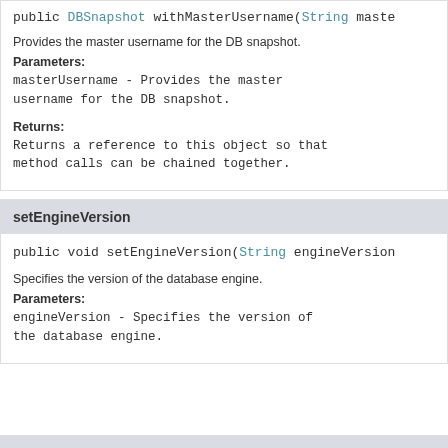public DBSnapshot withMasterUsername(String maste
Provides the master username for the DB snapshot.
Parameters:
masterUsername - Provides the master username for the DB snapshot.
Returns:
Returns a reference to this object so that method calls can be chained together.
setEngineVersion
public void setEngineVersion(String engineVersion
Specifies the version of the database engine.
Parameters:
engineVersion - Specifies the version of the database engine.